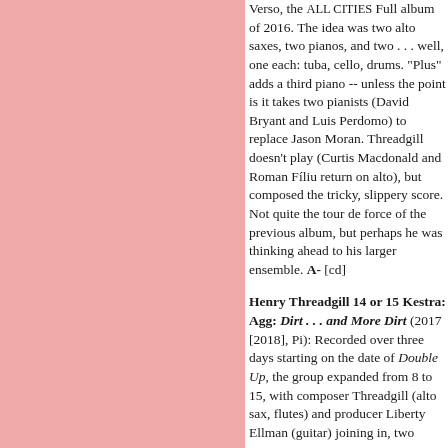Verso, the ALL CITIES Full album of 2016. The idea was two alto saxes, two pianos, and two . . . well, one each: tuba, cello, drums. "Plus" adds a third piano -- unless the point is it takes two pianists (David Bryant and Luis Perdomo) to replace Jason Moran. Threadgill doesn't play (Curtis Macdonald and Roman Filiu return on alto), but composed the tricky, slippery score. Not quite the tour de force of the previous album, but perhaps he was thinking ahead to his larger ensemble. A- [cd]
Henry Threadgill 14 or 15 Kestra: Agg: Dirt . . . and More Dirt (2017 [2018], Pi): Recorded over three days starting on the date of Double Up, the group expanded from 8 to 15, with composer Threadgill (alto sax, flutes) and producer Liberty Ellman (guitar) joining in, two